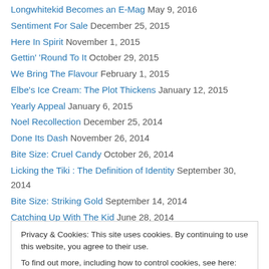Longwhitekid Becomes an E-Mag May 9, 2016
Sentiment For Sale December 25, 2015
Here In Spirit November 1, 2015
Gettin' 'Round To It October 29, 2015
We Bring The Flavour February 1, 2015
Elbe's Ice Cream: The Plot Thickens January 12, 2015
Yearly Appeal January 6, 2015
Noel Recollection December 25, 2014
Done Its Dash November 26, 2014
Bite Size: Cruel Candy October 26, 2014
Licking the Tiki : The Definition of Identity September 30, 2014
Bite Size: Striking Gold September 14, 2014
Catching Up With The Kid June 28, 2014
Privacy & Cookies: This site uses cookies. By continuing to use this website, you agree to their use. To find out more, including how to control cookies, see here: Cookie Policy
Bite Size: Collard's Green January 28, 2014